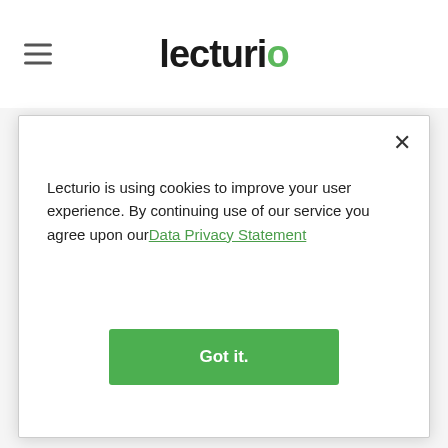Lecturio
enterocytes), and propel material down the tract at appropriate times and in appropriate amounts.
Last updated: Dec 20, 2021
Lecturio is using cookies to improve your user experience. By continuing use of our service you agree upon our Data Privacy Statement
Got it.